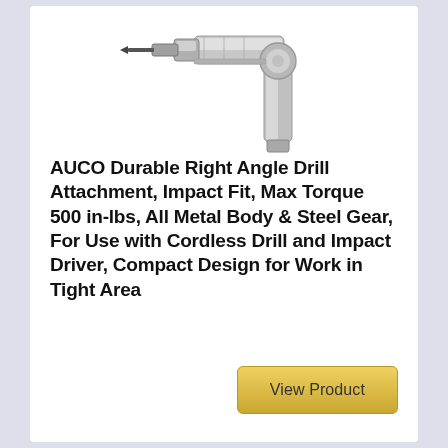[Figure (photo): Photo of a right angle drill attachment tool, metallic silver color, partially cropped at top of card]
AUCO Durable Right Angle Drill Attachment, Impact Fit, Max Torque 500 in-lbs, All Metal Body & Steel Gear, For Use with Cordless Drill and Impact Driver, Compact Design for Work in Tight Area
View Product